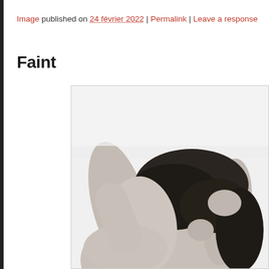Image published on 24 février 2022 | Permalink | Leave a response
Faint
[Figure (photo): Black and white photograph of a woman with dark hair, arms raised holding her hair behind her head, face not visible, cropped at the top of the frame.]